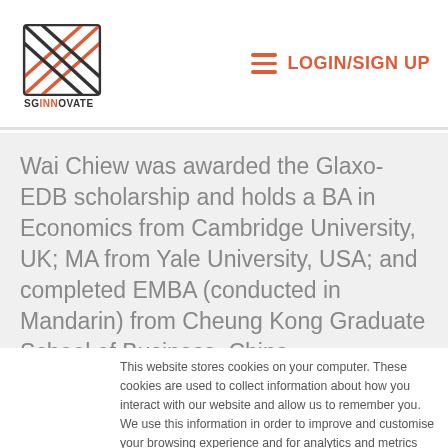[Figure (logo): SGInnovate logo with cross-hatch pattern icon and text SGINNOVATE]
LOGIN/SIGN UP
Wai Chiew was awarded the Glaxo-EDB scholarship and holds a BA in Economics from Cambridge University, UK; MA from Yale University, USA; and completed EMBA (conducted in Mandarin) from Cheung Kong Graduate School of Business, China.
This website stores cookies on your computer. These cookies are used to collect information about how you interact with our website and allow us to remember you. We use this information in order to improve and customise your browsing experience and for analytics and metrics about our visitors both on this website and other media. To find out more about the cookies we use, see our Privacy Policy.
Accept